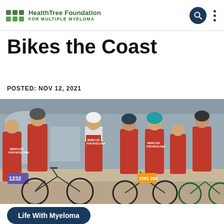HealthTree Foundation FOR MULTIPLE MYELOMA
Bikes the Coast
POSTED: NOV 12, 2021
[Figure (photo): Group of cyclists wearing red 'Muscles for Myeloma' jerseys and shirts posing with their bikes at the coast. Bike numbers visible include 1232, 2291, 252.]
Life With Myeloma